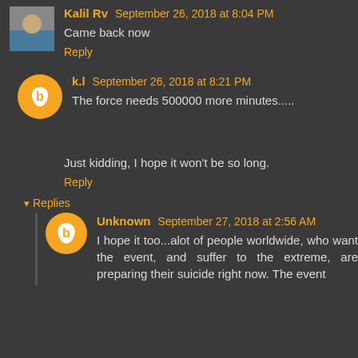Kalil Rv September 26, 2018 at 8:04 PM
Came back now
Reply
k.l September 26, 2018 at 8:21 PM
The force needs 500000 more minutes.....
Just kidding, I hope it won't be so long.
Reply
Replies
Unknown September 27, 2018 at 2:56 AM
I hope it too...alot of people worldwide, who want the event, and suffer to the extreme, are preparing their suicide right now. The event